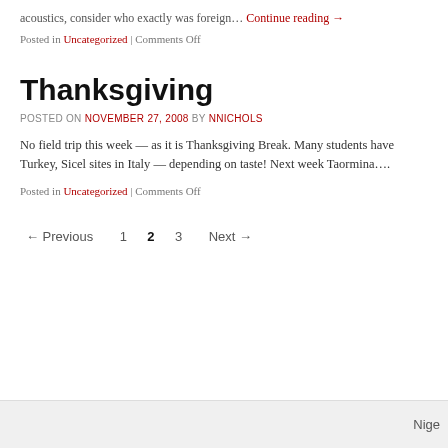acoustics, consider who exactly was foreign… Continue reading →
Posted in Uncategorized | Comments Off
Thanksgiving
POSTED ON NOVEMBER 27, 2008 BY NNICHOLS
No field trip this week — as it is Thanksgiving Break. Many students have Turkey, Sicel sites in Italy — depending on taste! Next week Taormina….
Posted in Uncategorized | Comments Off
← Previous   1   2   3   Next →
Nige